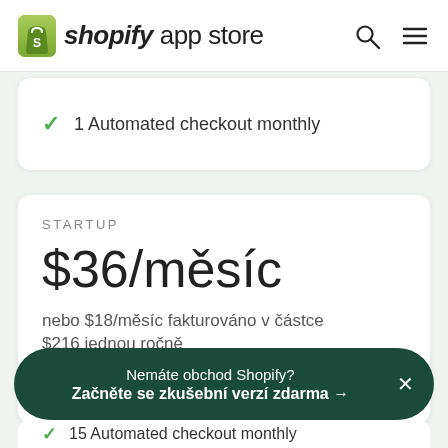shopify app store
1 Automated checkout monthly
STARTUP
$36/měsíc
nebo $18/měsíc fakturováno v částce $216 jednou ročně
Nemáte obchod Shopify? Začněte se zkušební verzí zdarma →
15 Automated checkout monthly